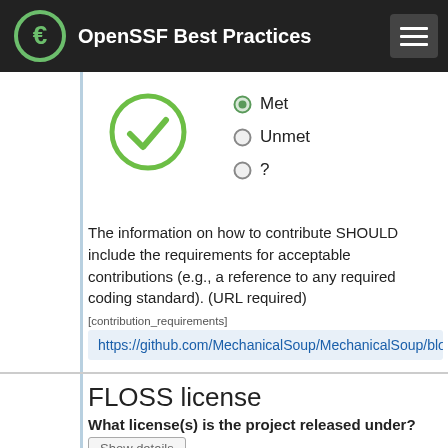OpenSSF Best Practices
[Figure (infographic): Green circle with white checkmark indicating Met status, with radio buttons for Met (selected), Unmet, and ?]
The information on how to contribute SHOULD include the requirements for acceptable contributions (e.g., a reference to any required coding standard). (URL required) [contribution_requirements]
https://github.com/MechanicalSoup/MechanicalSoup/blob
FLOSS license
What license(s) is the project released under?
Show details